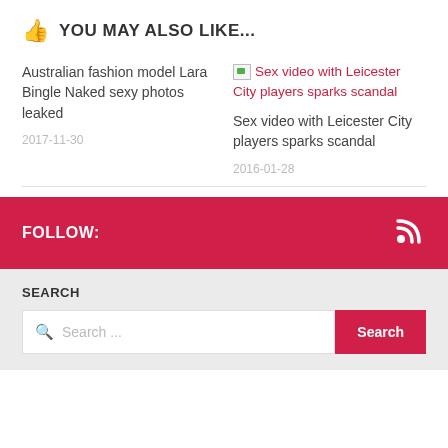YOU MAY ALSO LIKE...
Australian fashion model Lara Bingle Naked sexy photos leaked
2017-11-30
[Figure (other): Broken image placeholder for Sex video with Leicester City players sparks scandal]
Sex video with Leicester City players sparks scandal
Sex video with Leicester City players sparks scandal
2016-01-28
FOLLOW:
SEARCH
Search ...